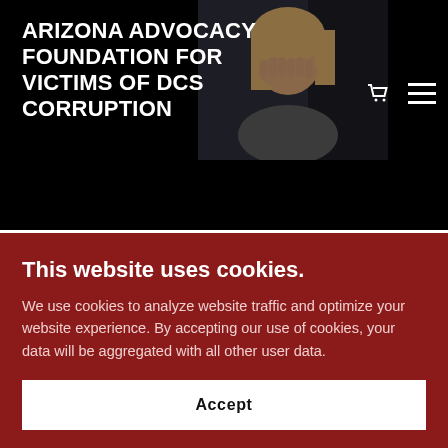ARIZONA ADVOCACY FOUNDATION FOR VICTIMS OF DCS CORRUPTION
[Figure (photo): Woman covering face with hands, appears distressed, dark moody lighting]
August 4, 2022    Arizona Child Safety, Arizon...
"Years of medieval torture": Mom takes
This website uses cookies.
We use cookies to analyze website traffic and optimize your website experience. By accepting our use of cookies, your data will be aggregated with all other user data.
Accept